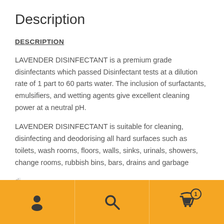Description
DESCRIPTION
LAVENDER DISINFECTANT is a premium grade disinfectants which passed Disinfectant tests at a dilution rate of 1 part to 60 parts water. The inclusion of surfactants, emulsifiers, and wetting agents give excellent cleaning power at a neutral pH.
LAVENDER DISINFECTANT is suitable for cleaning, disinfecting and deodorising all hard surfaces such as toilets, wash rooms, floors, walls, sinks, urinals, showers, change rooms, rubbish bins, bars, drains and garbage
Bottom navigation bar with user icon, search icon, and cart icon with badge 1